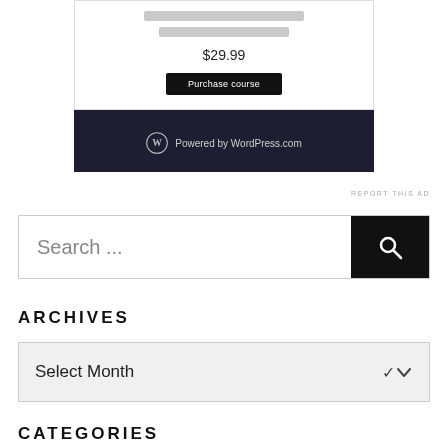[Figure (screenshot): Screenshot of a WordPress.com course purchase card showing $29.99 price, 'Purchase course' button, and dark footer with WordPress.com branding]
REPORT THIS AD
Search ...
ARCHIVES
Select Month
CATEGORIES